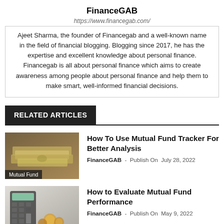FinanceGAB
https://www.financegab.com/
Ajeet Sharma, the founder of Financegab and a well-known name in the field of financial blogging. Blogging since 2017, he has the expertise and excellent knowledge about personal finance. Financegab is all about personal finance which aims to create awareness among people about personal finance and help them to make smart, well-informed financial decisions.
RELATED ARTICLES
[Figure (photo): Stack of cash/money bills on a wooden surface - Mutual Fund article thumbnail]
How To Use Mutual Fund Tracker For Better Analysis
FinanceGAB - Publish On July 28, 2022
[Figure (photo): Calculator with coins - Evaluate Mutual Fund Performance article thumbnail]
How to Evaluate Mutual Fund Performance
FinanceGAB - Publish On May 9, 2022